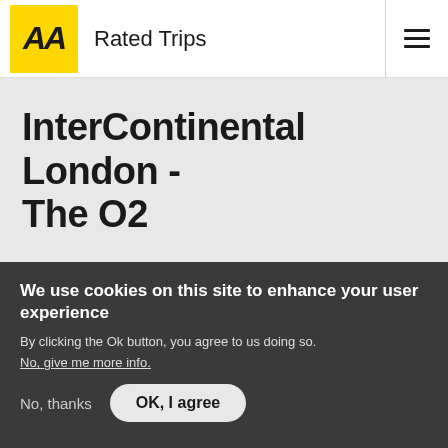AA Rated Trips
InterContinental London - The O2
[Figure (photo): Hotel exterior or interior photo with dark blue-grey gradient background]
We use cookies on this site to enhance your user experience
By clicking the Ok button, you agree to us doing so.
No, give me more info.
No, thanks
OK, I agree